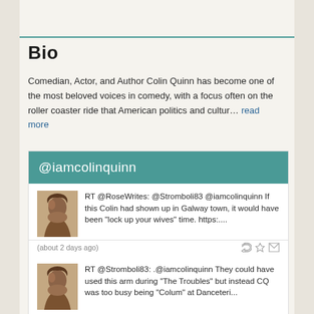Bio
Comedian, Actor, and Author Colin Quinn has become one of the most beloved voices in comedy, with a focus often on the roller coaster ride that American politics and cultur… read more
@iamcolinquinn
RT @RoseWrites: @Stromboli83 @iamcolinquinn If this Colin had shown up in Galway town, it would have been "lock up your wives" time. https:....
(about 2 days ago)
RT @Stromboli83: .@iamcolinquinn They could have used this arm during "The Troubles" but instead CQ was too busy being "Colum" at Danceteri...
(about 2 days ago)